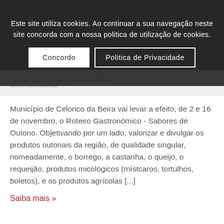[Figure (screenshot): Cookie consent banner overlay on a Portuguese municipal website, with dark semi-transparent background, cookie notice text in white, and two buttons: 'Concordo' (white background) and 'Politica de Privacidade' (transparent with white border).]
Este site utiliza cookies. Ao continuar a sua navegação neste site concorda com a nossa politica de utilização de cookies.
Município de Celorico da Beira vai levar a efeito, de 2 e 16 de novembro, o Roteiro Gastronómico - Sabores de Outono. Objetivando por um lado, valorizar e divulgar os produtos outonais da região, de qualidade singular, nomeadamente, o borrego, a castanha, o queijo, o requeijão, produtos micológicos (místcaros, tortulhos, boletos), e os produtos agrícolas [...]
Saiba mais »